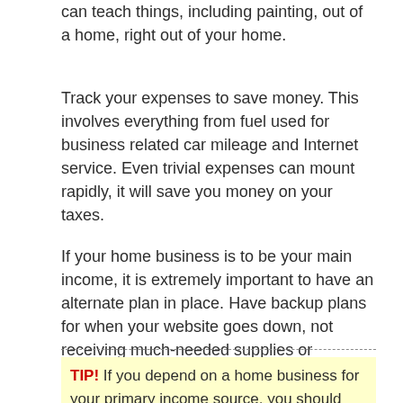can teach things, including painting, out of a home, right out of your home.
Track your expenses to save money. This involves everything from fuel used for business related car mileage and Internet service. Even trivial expenses can mount rapidly, it will save you money on your taxes.
If your home business is to be your main income, it is extremely important to have an alternate plan in place. Have backup plans for when your website goes down, not receiving much-needed supplies or equipment and anything else you can think of. This will leave you with income at all times, even in the worst case scenario.
TIP! If you depend on a home business for your primary income source, you should always have a backup plan in case things go wrong. Disaster can strike at anytime, such as not receiving a shipment in time for a project deadline, and it is important to have